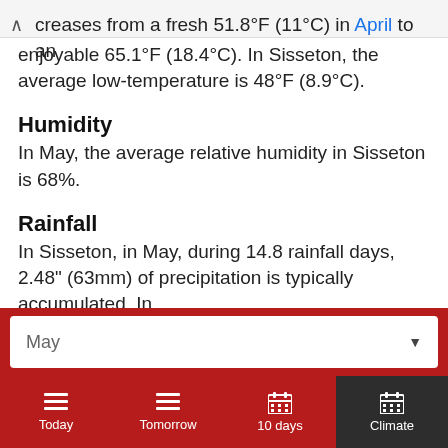creases from a fresh 51.8°F (11°C) in April to an enjoyable 65.1°F (18.4°C). In Sisseton, the average low-temperature is 48°F (8.9°C).
Humidity
In May, the average relative humidity in Sisseton is 68%.
Rainfall
In Sisseton, in May, during 14.8 rainfall days, 2.48" (63mm) of precipitation is typically accumulated. In
May ▼
Today  Tomorrow  10 days  Climate